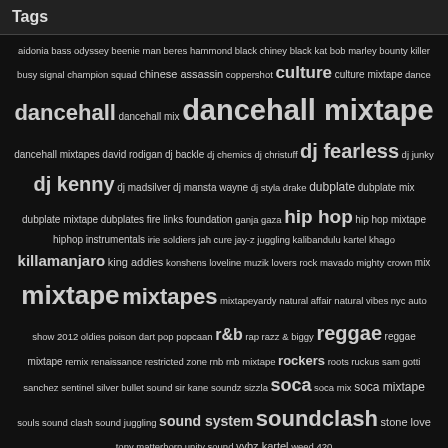Tags
aidonia bass odyssey beenie man beres hammond black chiney black kat bob marley bounty killer busy signal champion squad chinese assassin coppershot culture culture mixtape dance dancehall dancehall mix dancehall mixtape dancehall mixtapes david rodigan dj backle dj chemics dj christuff dj fearless dj junky dj kenny dj madsilver dj mansta wayne dj styla drake dubplate dubplate mix dubplate mixtape dubplates fire links foundation ganja gaza hip hop hip hop mixtape hiphop instrumentals irie soldiers jah cure jay-z juggling kalibandulu kartel khago killamanjaro king addies konshens loveline muzik lovers rock mavado mighty crown mix mixtape mixtapes mixtapeyardy natural affair natural vibes nyc auto show 2012 oldies poison dart pop popcaan r&b rap razz & biggy reggae reggae mixtape remix renaissance restricted zone rnb rnb mixtape rockers roots ruckus sam gotti sanchez sentinel silver bullet sound sir kane soundz sizzla soca soca mix soca mixtape souls sound clash sound juggling sound system soundclash stone love tony matterhorn unity sound vybz kartel weed 420
Home   Search   Recent Posts   <-----Click to visit the new site------>